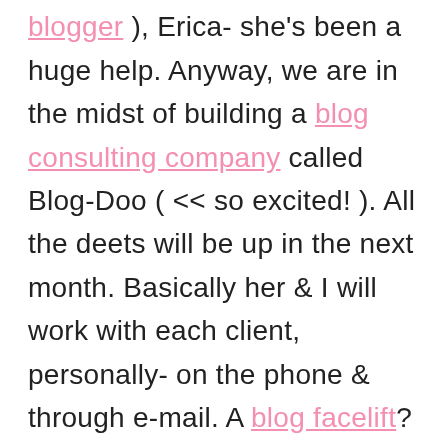· I'm the first person I told about my blog was my girlfriend ( & longtime blogger ), Erica- she's been a huge help. Anyway, we are in the midst of building a blog consulting company called Blog-Doo ( << so excited! ). All the deets will be up in the next month. Basically her & I will work with each client, personally- on the phone & through e-mail. A blog facelift? No problem-o. We can do it all: Photoshop, blog design, business cards, building the site, inside advice, & social media tips. Maybe you're interested in starting a blog & don't know where to begin? We're your gurrllls.